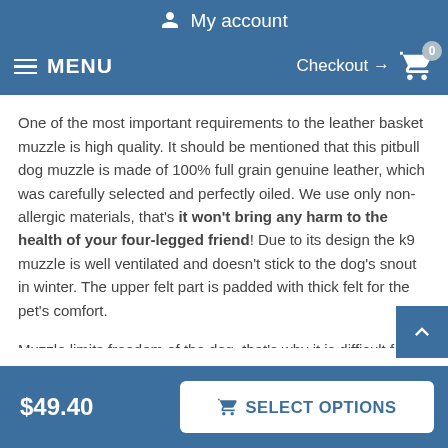My account
MENU  Checkout → 0
One of the most important requirements to the leather basket muzzle is high quality. It should be mentioned that this pitbull dog muzzle is made of 100% full grain genuine leather, which was carefully selected and perfectly oiled. We use only non-allergic materials, that's it won't bring any harm to the health of your four-legged friend! Due to its design the k9 muzzle is well ventilated and doesn't stick to the dog's snout in winter. The upper felt part is padded with thick felt for the pet's comfort.
Muzzle limits freedom of the dog, that's why it is difficult for them to get used to it. Our craftsmen created this muzzle with the thoughts about your pet. They wanted it to be comfy for wearing. The painted dog muzzle allows barking, panting, but prevents
$49.40  SELECT OPTIONS